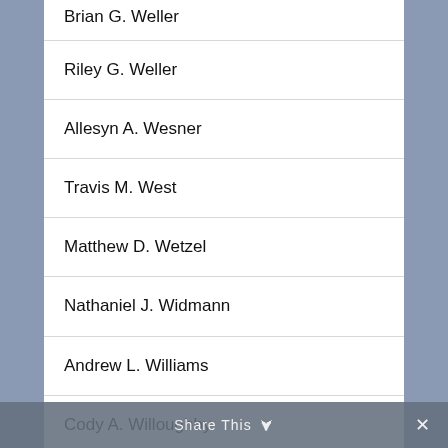Brian G. Weller
Riley G. Weller
Allesyn A. Wesner
Travis M. West
Matthew D. Wetzel
Nathaniel J. Widmann
Andrew L. Williams
Cody A. Willoughby
Kyle M. Willwerth
Share This